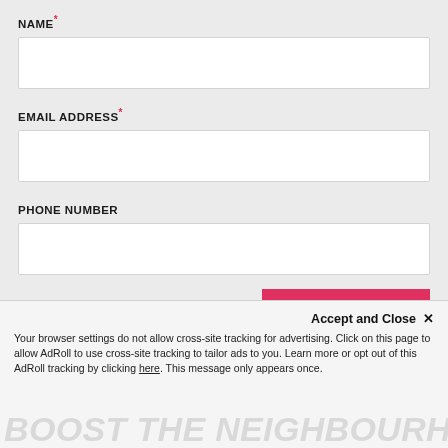NAME*
EMAIL ADDRESS*
PHONE NUMBER
GET ACCESS
Accept and Close ✕
Your browser settings do not allow cross-site tracking for advertising. Click on this page to allow AdRoll to use cross-site tracking to tailor ads to you. Learn more or opt out of this AdRoll tracking by clicking here. This message only appears once.